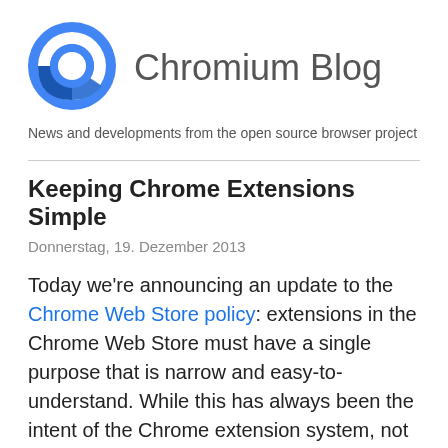[Figure (logo): Chromium browser logo: a circular icon with blue and white concentric circles and a blue triangular swoosh at bottom-left]
Chromium Blog
News and developments from the open source browser project
Keeping Chrome Extensions Simple
Donnerstag, 19. Dezember 2013
Today we're announcing an update to the Chrome Web Store policy: extensions in the Chrome Web Store must have a single purpose that is narrow and easy-to-understand. While this has always been the intent of the Chrome extension system, not all extensions have lived up